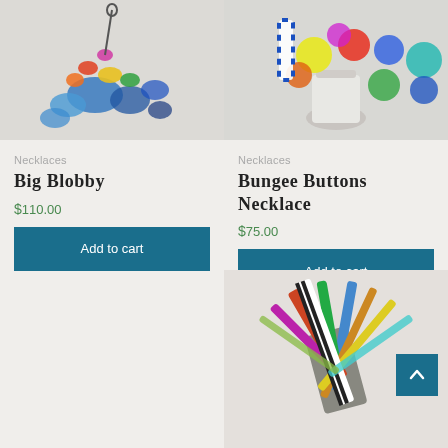[Figure (photo): Photo of Big Blobby necklace with colorful abstract shapes on a light background]
Necklaces
Big Blobby
$110.00
Add to cart
[Figure (photo): Photo of Bungee Buttons Necklace with colorful circular buttons and striped elements in a white vase]
Necklaces
Bungee Buttons Necklace
$75.00
Add to cart
[Figure (photo): Partial photo of a colorful woven/paper necklace on a light background]